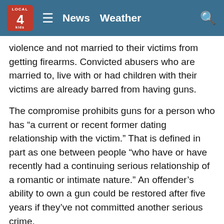Local 4 News — News   Weather
violence and not married to their victims from getting firearms. Convicted abusers who are married to, live with or had children with their victims are already barred from having guns.
The compromise prohibits guns for a person who has “a current or recent former dating relationship with the victim.” That is defined in part as one between people “who have or have recently had a continuing serious relationship of a romantic or intimate nature.” An offender’s ability to own a gun could be restored after five years if they’ve not committed another serious crime.
On another late dispute, the bill would provide $750 million to the 19 states and the District of Columbia that have “red flag” laws making it easier to temporarily take firearms from people adjudged dangerous, and to other states with